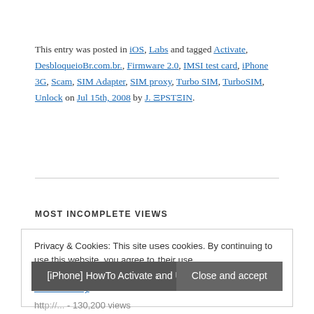This entry was posted in iOS, Labs and tagged Activate, DesbloqueioBr.com.br., Firmware 2.0, IMSI test card, iPhone 3G, Scam, SIM Adapter, SIM proxy, Turbo SIM, TurboSIM, Unlock on Jul 15th, 2008 by J. ΞPSTΞIN.
MOST INCOMPLETE VIEWS
Privacy & Cookies: This site uses cookies. By continuing to use this website, you agree to their use.
To find out more, including how to control cookies, see here: Cookie Policy
Close and accept